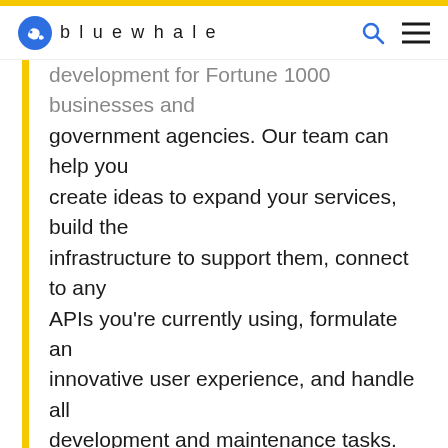bluewhale
development for Fortune 1000 businesses and government agencies. Our team can help you create ideas to expand your services, build the infrastructure to support them, connect to any APIs you're currently using, formulate an innovative user experience, and handle all development and maintenance tasks. Recent projects have included apps within the healthcare, technology, public utilities, entertainment, retail, consumer products and automotive industries. And last year, Blue Whale Apps was named the #1 Mobile App Developers by AppFutura, Clutch, and Good Firms in 2019.